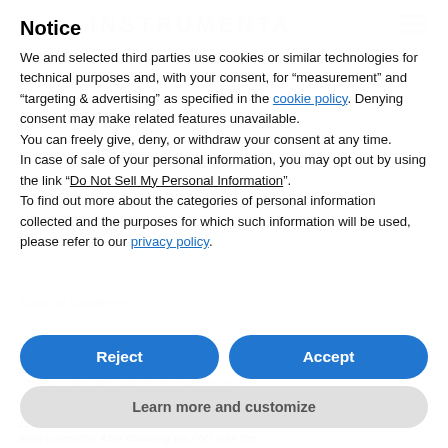Notice — INSTRUMENTA
Notice
We and selected third parties use cookies or similar technologies for technical purposes and, with your consent, for “measurement” and “targeting & advertising” as specified in the cookie policy. Denying consent may make related features unavailable.
You can freely give, deny, or withdraw your consent at any time.
In case of sale of your personal information, you may opt out by using the link "Do Not Sell My Personal Information".
To find out more about the categories of personal information collected and the purposes for which such information will be used, please refer to our privacy policy.
Reject
Accept
Learn more and customize
Jan Kohnlein is a leading expert in DSL design and an Xtext committor. After obtaining his PhD from the